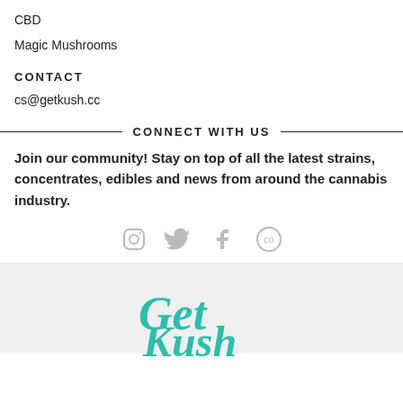CBD
Magic Mushrooms
CONTACT
cs@getkush.cc
CONNECT WITH US
Join our community! Stay on top of all the latest strains, concentrates, edibles and news from around the cannabis industry.
[Figure (other): Social media icons: Instagram, Twitter, Facebook, and a co-op/other icon]
[Figure (logo): GetKush logo in teal script font on grey background]